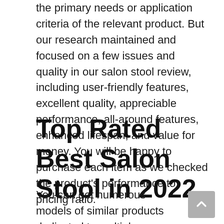the primary needs or application criteria of the relevant product. But our research maintained and focused on a few issues and quality in our salon stool review, including user-friendly features, excellent quality, appreciable performance, all-around features, enhanced lifespan, and value for money. You will be happy to purchase each item as we checked the product's performance to pricing ratio.
Top Rated Best Salon Stool in 2022
You can get numerous models of similar products dedicated to multiple users like the salon stool. Our selection of top 10 best...